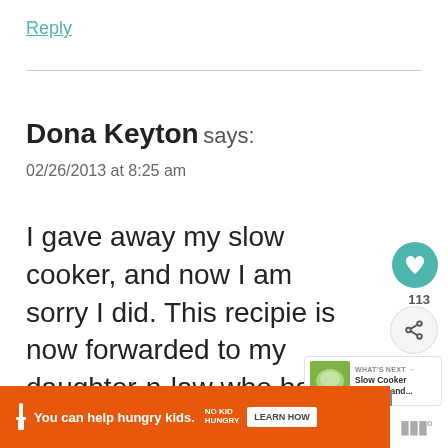Reply
Dona Keyton says:
02/26/2013 at 8:25 am
I gave away my slow cooker, and now I am sorry I did. This recipie is now forwarded to my daughter-n-law who has it now.
Reply
[Figure (screenshot): Ad banner: You can help hungry kids. No Kid Hungry. LEARN HOW button.]